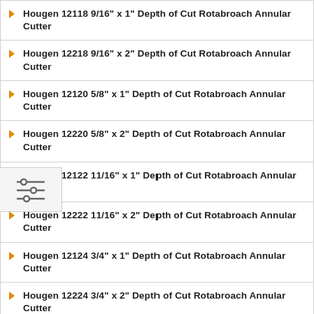Hougen 12118 9/16" x 1" Depth of Cut Rotabroach Annular Cutter
Hougen 12218 9/16" x 2" Depth of Cut Rotabroach Annular Cutter
Hougen 12120 5/8" x 1" Depth of Cut Rotabroach Annular Cutter
Hougen 12220 5/8" x 2" Depth of Cut Rotabroach Annular Cutter
Hougen 12122 11/16" x 1" Depth of Cut Rotabroach Annular Cutter
Hougen 12222 11/16" x 2" Depth of Cut Rotabroach Annular Cutter
Hougen 12124 3/4" x 1" Depth of Cut Rotabroach Annular Cutter
Hougen 12224 3/4" x 2" Depth of Cut Rotabroach Annular Cutter
Hougen 12126 13/16" x 1" Depth of Cut Rotabroach